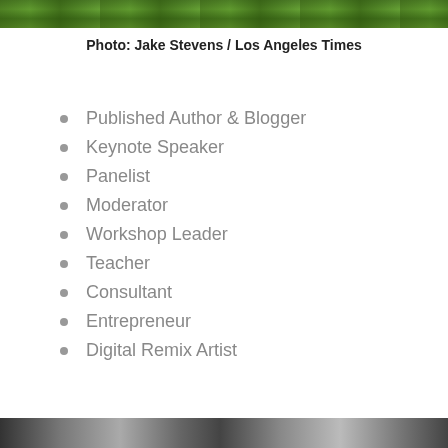[Figure (photo): Photo strip at top of page showing outdoor/nature scene in green tones]
Photo: Jake Stevens / Los Angeles Times
Published Author & Blogger
Keynote Speaker
Panelist
Moderator
Workshop Leader
Teacher
Consultant
Entrepreneur
Digital Remix Artist
[Figure (photo): Photo strip at bottom of page showing a black and white scene]